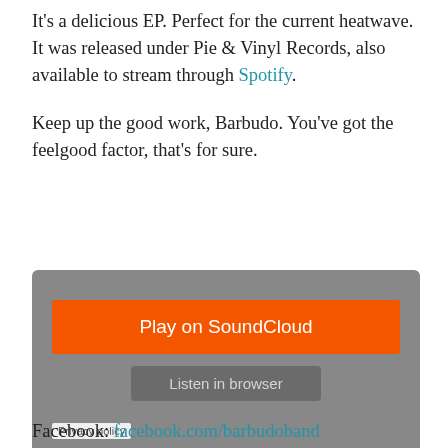It's a delicious EP. Perfect for the current heatwave. It was released under Pie & Vinyl Records, also available to stream through Spotify.
Keep up the good work, Barbudo. You've got the feelgood factor, that's for sure.
[Figure (screenshot): SoundCloud embedded player widget with an orange 'Play on SoundCloud' button, a grey 'Listen in browser' button, and a 'Privacy policy' label in the bottom-left corner.]
Facebook: facebook.com/barbudoband